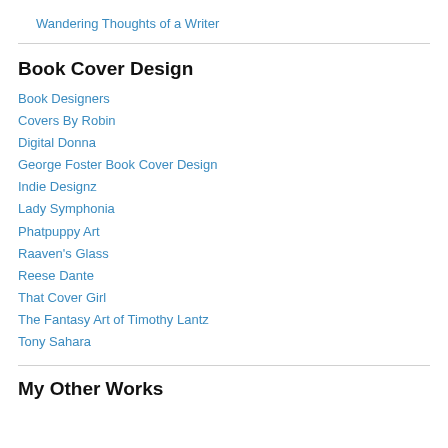Wandering Thoughts of a Writer
Book Cover Design
Book Designers
Covers By Robin
Digital Donna
George Foster Book Cover Design
Indie Designz
Lady Symphonia
Phatpuppy Art
Raaven's Glass
Reese Dante
That Cover Girl
The Fantasy Art of Timothy Lantz
Tony Sahara
My Other Works